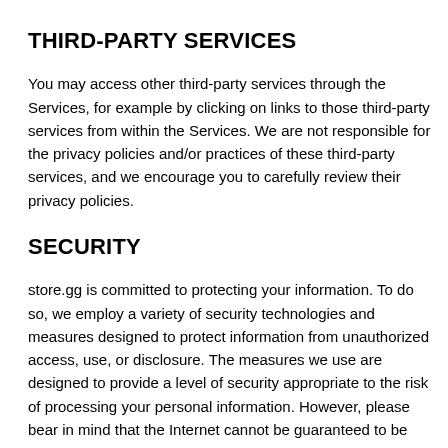THIRD-PARTY SERVICES
You may access other third-party services through the Services, for example by clicking on links to those third-party services from within the Services. We are not responsible for the privacy policies and/or practices of these third-party services, and we encourage you to carefully review their privacy policies.
SECURITY
store.gg is committed to protecting your information. To do so, we employ a variety of security technologies and measures designed to protect information from unauthorized access, use, or disclosure. The measures we use are designed to provide a level of security appropriate to the risk of processing your personal information. However, please bear in mind that the Internet cannot be guaranteed to be 100% secure.
DATA RETENTION
We retain personal information we collect from you where we